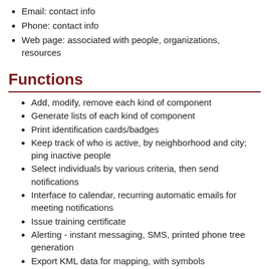Email: contact info
Phone: contact info
Web page: associated with people, organizations, resources
Functions
Add, modify, remove each kind of component
Generate lists of each kind of component
Print identification cards/badges
Keep track of who is active, by neighborhood and city; ping inactive people
Select individuals by various criteria, then send notifications
Interface to calendar, recurring automatic emails for meeting notifications
Issue training certificate
Alerting - instant messaging, SMS, printed phone tree generation
Export KML data for mapping, with symbols
Dashboards for incidents, teams, resources, projects
Training status - who, and which courses, are current